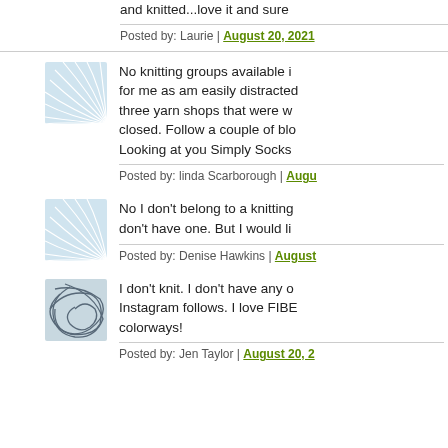and knitted...love it and sure
Posted by: Laurie | August 20, 2021
[Figure (illustration): Blue wave/fan pattern avatar icon]
No knitting groups available i for me as am easily distracted three yarn shops that were w closed. Follow a couple of blo Looking at you Simply Socks
Posted by: linda Scarborough | Augu
[Figure (illustration): Blue wave/fan pattern avatar icon]
No I don't belong to a knitting don't have one. But I would li
Posted by: Denise Hawkins | August
[Figure (illustration): Dark tangled yarn/thread avatar icon]
I don't knit. I don't have any o Instagram follows. I love FIBE colorways!
Posted by: Jen Taylor | August 20, 2